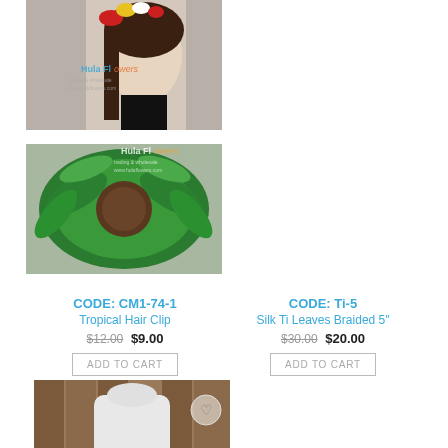[Figure (photo): Mannequin head wearing tropical flower hair clip with red and yellow flowers, Hula Flowers watermark]
[Figure (photo): Mannequin head wearing silk ti leaves braided hair piece, green leaves spread out, Hula Flowers watermark]
CODE: CM1-74-1
Tropical Hair Clip
$12.00 $9.00
ADD TO CART
CODE: Ti-5
Silk Ti Leaves Braided 5"
$30.00 $20.00
ADD TO CART
[Figure (photo): Mannequin torso wearing large green ti leaf skirt/wrap, Hula Flowers watermark at bottom]